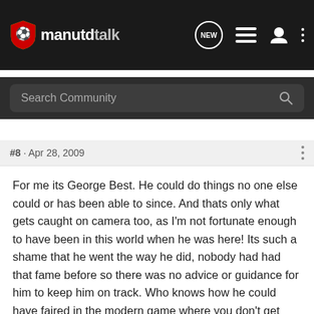manutdtalk
Search Community
#8 · Apr 28, 2009
For me its George Best. He could do things no one else could or has been able to since. And thats only what gets caught on camera too, as I'm not fortunate enough to have been in this world when he was here! Its such a shame that he went the way he did, nobody had had that fame before so there was no advice or guidance for him to keep him on track. Who knows how he could have faired in the modern game where you don't get hacked like you used to and there are people who can guide you away from the fame and the drink.
The one who means the most to me is Cantona though, don't even need to explain why.